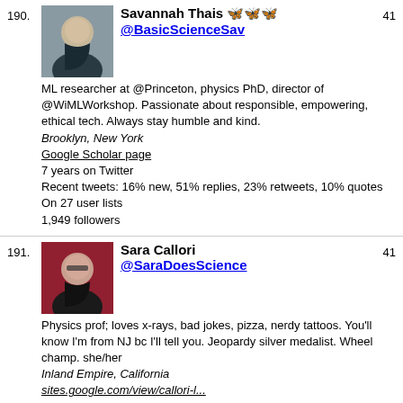190. Savannah Thais @BasicScienceSav 41
ML researcher at @Princeton, physics PhD, director of @WiMLWorkshop. Passionate about responsible, empowering, ethical tech. Always stay humble and kind.
Brooklyn, New York
Google Scholar page
7 years on Twitter
Recent tweets: 16% new, 51% replies, 23% retweets, 10% quotes
On 27 user lists
1,949 followers
191. Sara Callori @SaraDoesScience 41
Physics prof; loves x-rays, bad jokes, pizza, nerdy tattoos. You'll know I'm from NJ bc I'll tell you. Jeopardy silver medalist. Wheel champ. she/her
Inland Empire, California
sites.google.com/view/callori-l...
Google Scholar page
11 years on Twitter
Recent tweets: 40% new, 49% replies, 5% retweets, 6% quotes
On 43 user lists